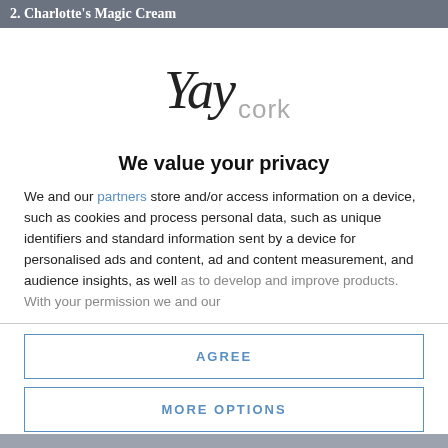2. Charlotte's Magic Cream
[Figure (logo): Yay cork logo in cursive/script font]
We value your privacy
We and our partners store and/or access information on a device, such as cookies and process personal data, such as unique identifiers and standard information sent by a device for personalised ads and content, ad and content measurement, and audience insights, as well as to develop and improve products. With your permission we and our
AGREE
MORE OPTIONS
DISAGREE